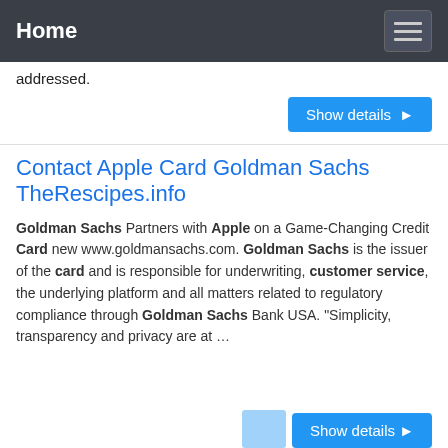Home
addressed.
Show details ▶
Contact Apple Card Goldman Sachs TheRescipes.info
Goldman Sachs Partners with Apple on a Game-Changing Credit Card new www.goldmansachs.com. Goldman Sachs is the issuer of the card and is responsible for underwriting, customer service, the underlying platform and all matters related to regulatory compliance through Goldman Sachs Bank USA. "Simplicity, transparency and privacy are at …
Show details ▶